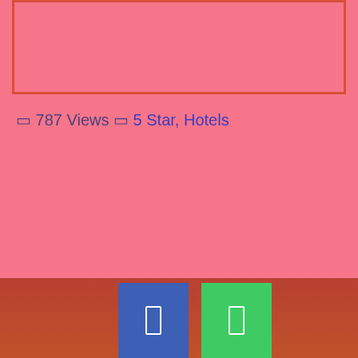[Figure (other): Pink rectangular image placeholder with reddish-orange border]
787 Views  5 Star, Hotels
[Figure (other): Bottom navigation bar with dark red/brown gradient background containing two icon buttons: a blue button with white rectangle icon and a green button with white rectangle icon]